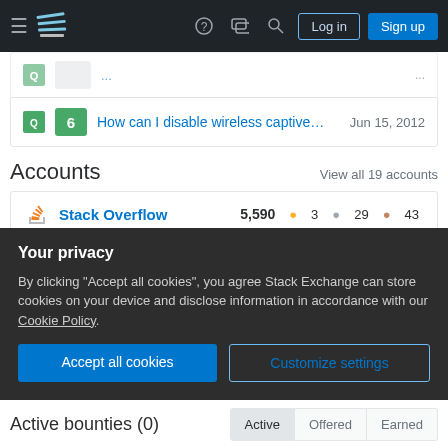Stack Exchange navigation bar with hamburger menu, logo, help, chat, search icons, Log in and Sign up buttons
How can I disable wireless captive... Jun 15, 2012 — answer count: 6
Accounts
View all 19 accounts
Stack Overflow 5,590 ● 3 ● 29 ● 43
Server Fault 495 ● 1 ● 5 ● 13
Unix & Linux 359 ● 2 ● 12
Your privacy
By clicking "Accept all cookies", you agree Stack Exchange can store cookies on your device and disclose information in accordance with our Cookie Policy.
Accept all cookies
Customize settings
Active bounties (0)
Active | Offered | Earned